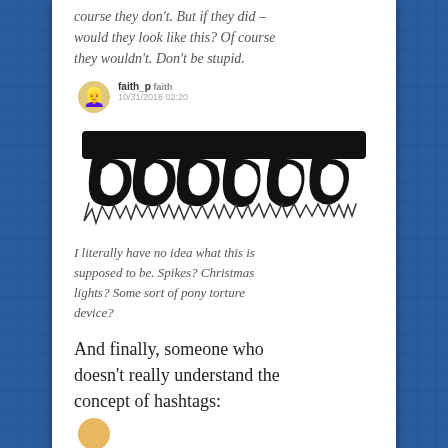course they don't. But if they did – would they look like this? Of course they wouldn't. Don't be stupid.
[Figure (screenshot): Social media post by user faith_p with avatar, username, and tag, dated 10/31/2016 02:20]
[Figure (illustration): Black ink image of decorative/stylized script or symbols resembling heavy ornamental characters with spiky bases]
I literally have no idea what this is supposed to be. Spikes? Christmas lights? Some sort of pony torture device?
And finally, someone who doesn't really understand the concept of hashtags:
[Figure (screenshot): Partial social media post avatar visible at bottom]